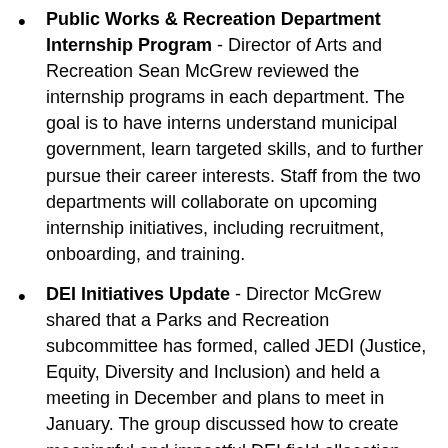Public Works & Recreation Department Internship Program - Director of Arts and Recreation Sean McGrew reviewed the internship programs in each department. The goal is to have interns understand municipal government, learn targeted skills, and to further pursue their career interests. Staff from the two departments will collaborate on upcoming internship initiatives, including recruitment, onboarding, and training.
DEI Initiatives Update - Director McGrew shared that a Parks and Recreation subcommittee has formed, called JEDI (Justice, Equity, Diversity and Inclusion) and held a meeting in December and plans to meet in January. The group discussed how to create meaningful and impactful DEI field allocation stipulations and annual Recreation special events.
Call for Local Musicians - Mill Valley Arts Commission 2022 Concerts in the Plaza: The Mill Valley Arts Commission will host outdoor concerts